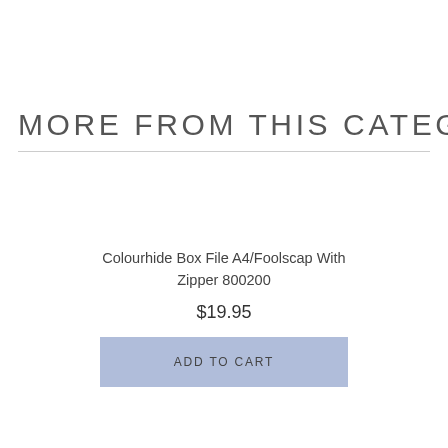MORE FROM THIS CATEGORY
Colourhide Box File A4/Foolscap With Zipper 800200
$19.95
ADD TO CART